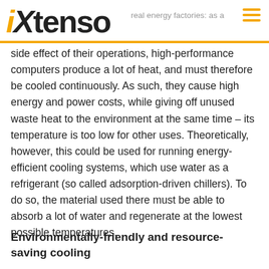iXtenso — real energy factories: as a
side effect of their operations, high-performance computers produce a lot of heat, and must therefore be cooled continuously. As such, they cause high energy and power costs, while giving off unused waste heat to the environment at the same time – its temperature is too low for other uses. Theoretically, however, this could be used for running energy-efficient cooling systems, which use water as a refrigerant (so called adsorption-driven chillers). To do so, the material used there must be able to absorb a lot of water and regenerate at the lowest possible temperatures.
Environmentally-friendly and resource-saving cooling